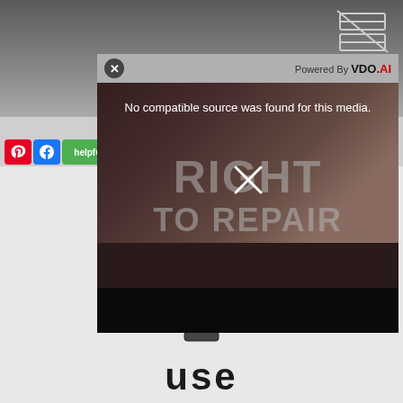[Figure (screenshot): Screenshot of a webpage with a VDO.AI video player overlay showing 'No compatible source was found for this media.' error message over a 'RIGHT TO REPAIR' video thumbnail. The background shows a webpage with social share buttons (Pinterest, Facebook, helpful) and a pointing hand icon with partial 'use' text at the bottom.]